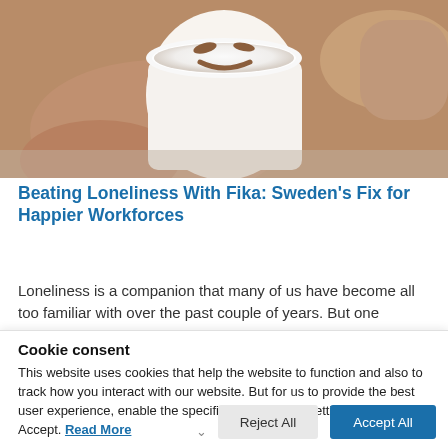[Figure (photo): A pair of hands holding a white ceramic cup with a latte art smiley face made of cinnamon or chocolate on a white frothy surface]
Beating Loneliness With Fika: Sweden's Fix for Happier Workforces
Loneliness is a companion that many of us have become all too familiar with over the past couple of years. But one
Cookie consent
This website uses cookies that help the website to function and also to track how you interact with our website. But for us to provide the best user experience, enable the specific cookies from Settings, and click on Accept. Read More